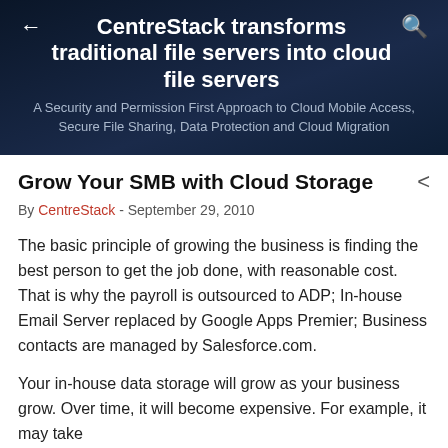CentreStack transforms traditional file servers into cloud file servers
A Security and Permission First Approach to Cloud Mobile Access, Secure File Sharing, Data Protection and Cloud Migration
Grow Your SMB with Cloud Storage
By CentreStack - September 29, 2010
The basic principle of growing the business is finding the best person to get the job done, with reasonable cost. That is why the payroll is outsourced to ADP; In-house Email Server replaced by Google Apps Premier; Business contacts are managed by Salesforce.com.
Your in-house data storage will grow as your business grow. Over time, it will become expensive. For example, it may take